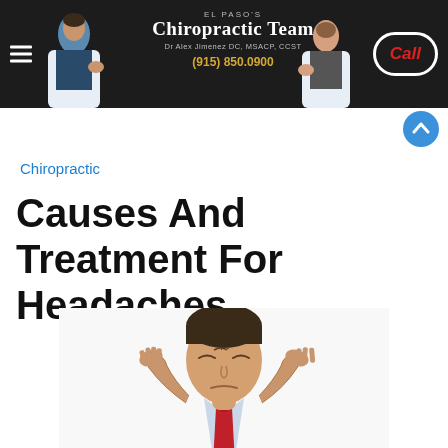El Paso's Chiropractic Team | Dr Alex Jimenez DC, MSACP, CCST | (915) 850.0900 | Call
Chiropractic
Causes And Treatment For Headaches
[Figure (photo): Man in white shirt and red tie pressing both hands to his temples, eyes closed, appearing to suffer from a headache, white background]